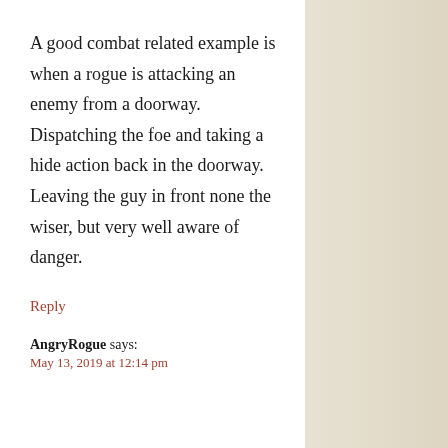A good combat related example is when a rogue is attacking an enemy from a doorway. Dispatching the foe and taking a hide action back in the doorway. Leaving the guy in front none the wiser, but very well aware of danger.
Reply
AngryRogue says:
May 13, 2019 at 12:14 pm